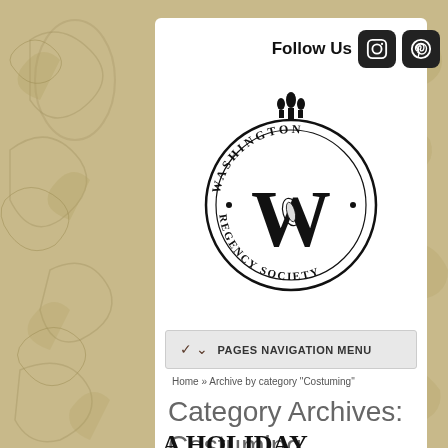Follow Us
[Figure (logo): Washington Regency Society circular seal logo with decorative W and fleur-de-lis crown]
PAGES NAVIGATION MENU
Home » Archive by category "Costuming"
Category Archives: Costuming
A HOLIDAY